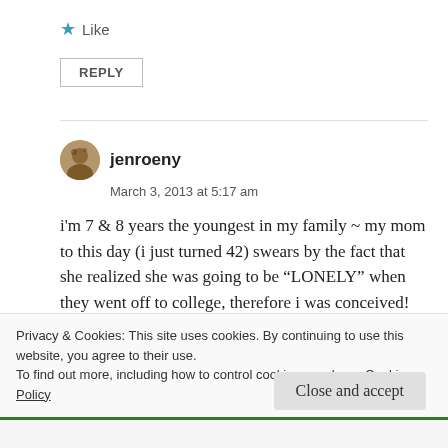★ Like
REPLY
jenroeny
March 3, 2013 at 5:17 am
i'm 7 & 8 years the youngest in my family ~ my mom to this day (i just turned 42) swears by the fact that she realized she was going to be “LONELY” when they went off to college, therefore i was conceived!
Privacy & Cookies: This site uses cookies. By continuing to use this website, you agree to their use.
To find out more, including how to control cookies, see here: Cookie Policy
Close and accept